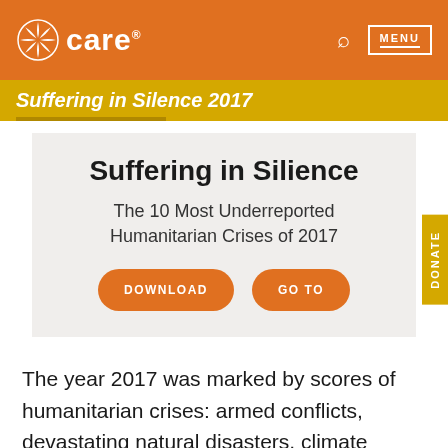care
Suffering in Silence 2017
Suffering in Silience
The 10 Most Underreported Humanitarian Crises of 2017
DOWNLOAD  GO TO
The year 2017 was marked by scores of humanitarian crises: armed conflicts, devastating natural disasters, climate shocks